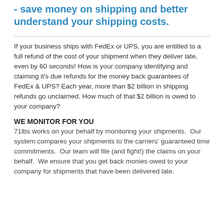- save money on shipping and better understand your shipping costs.
If your business ships with FedEx or UPS, you are entitled to a full refund of the cost of your shipment when they deliver late, even by 60 seconds! How is your company identifying and claiming it's due refunds for the money back guarantees of FedEx & UPS? Each year, more than $2 billion in shipping refunds go unclaimed. How much of that $2 billion is owed to your company?
WE MONITOR FOR YOU
71lbs works on your behalf by monitoring your shipments.  Our system compares your shipments to the carriers' guaranteed time commitments.  Our team will file (and fight!) the claims on your behalf.  We ensure that you get back monies owed to your company for shipments that have been delivered late.